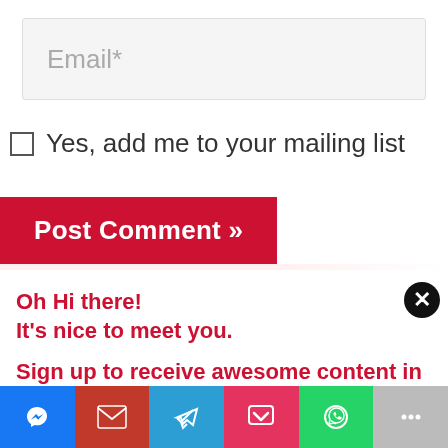[Figure (screenshot): Email input field with placeholder text 'Email*']
Yes, add me to your mailing list
[Figure (screenshot): Post Comment button in red]
Oh Hi there!
It's nice to meet you.

Sign up to receive awesome content in your inbox, every week.
[Figure (infographic): Share bar with icons: Messenger (blue), Gmail (red), Telegram (blue), Pocket (pink), WhatsApp (green), More (gray)]